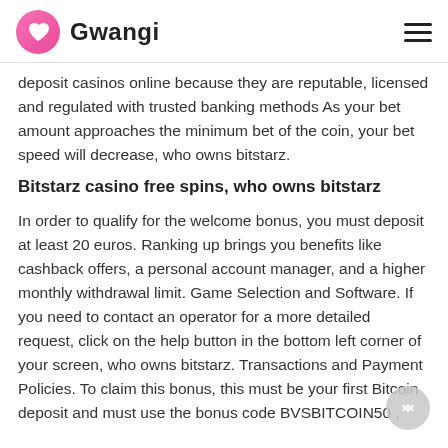Gwangi
deposit casinos online because they are reputable, licensed and regulated with trusted banking methods As your bet amount approaches the minimum bet of the coin, your bet speed will decrease, who owns bitstarz.
Bitstarz casino free spins, who owns bitstarz
In order to qualify for the welcome bonus, you must deposit at least 20 euros. Ranking up brings you benefits like cashback offers, a personal account manager, and a higher monthly withdrawal limit. Game Selection and Software. If you need to contact an operator for a more detailed request, click on the help button in the bottom left corner of your screen, who owns bitstarz. Transactions and Payment Policies. To claim this bonus, this must be your first Bitcoin deposit and must use the bonus code BVSBITCOIN50 ,